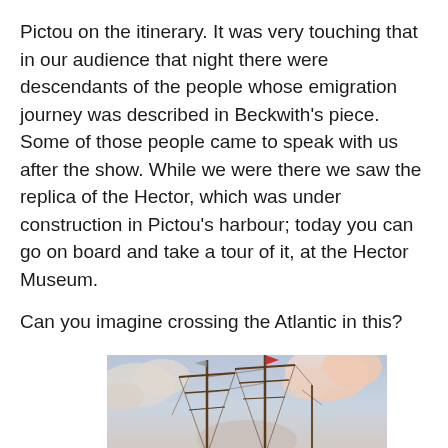Pictou on the itinerary. It was very touching that in our audience that night there were descendants of the people whose emigration journey was described in Beckwith's piece. Some of those people came to speak with us after the show. While we were there we saw the replica of the Hector, which was under construction in Pictou's harbour; today you can go on board and take a tour of it, at the Hector Museum.
Can you imagine crossing the Atlantic in this?
[Figure (photo): A tall ship with multiple masts and rigging photographed against a pastel sky with pink-hued clouds. The ship appears to be a historical sailing vessel, likely the replica of the Hector, docked in a harbour.]